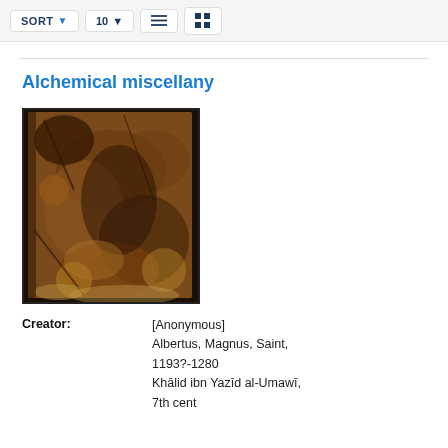SORT 10 [list icon] [grid icon]
Alchemical miscellany
[Figure (photo): Aged brown leather book cover, heavily worn and distressed, photographed against a dark background.]
Creator: [Anonymous] Albertus, Magnus, Saint, 1193?-1280 Khālid ibn Yazīd al-Umawī, 7th cent